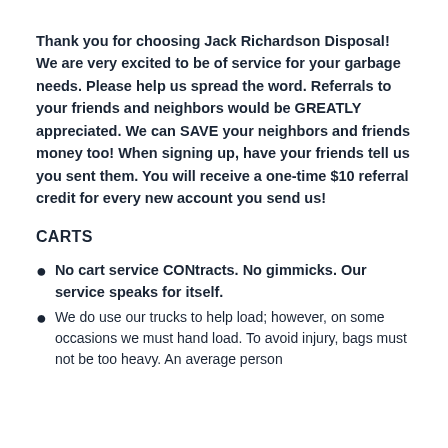Thank you for choosing Jack Richardson Disposal! We are very excited to be of service for your garbage needs. Please help us spread the word. Referrals to your friends and neighbors would be GREATLY appreciated. We can SAVE your neighbors and friends money too! When signing up, have your friends tell us you sent them. You will receive a one-time $10 referral credit for every new account you send us!
CARTS
No cart service CONtracts. No gimmicks. Our service speaks for itself.
We do use our trucks to help load; however, on some occasions we must hand load. To avoid injury, bags must not be too heavy. An average person